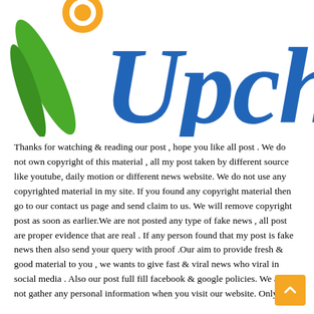[Figure (logo): Upch logo with green leaf, orange/yellow circular element, and blue bold italic text 'Upch' partially visible]
Thanks for watching & reading our post , hope you like all post . We do not own copyright of this material , all my post taken by different source like youtube, daily motion or different news website. We do not use any copyrighted material in my site. If you found any copyright material then go to our contact us page and send claim to us. We will remove copyright post as soon as earlier.We are not posted any type of fake news , all post are proper evidence that are real . If any person found that my post is fake news then also send your query with proof .Our aim to provide fresh & good material to you , we wants to give fast & viral news who viral in social media . Also our post full fill facebook & google policies. We are not gather any personal information when you visit our website. Only third